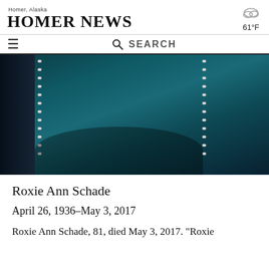Homer News — Homer, Alaska — 61°F
[Figure (photo): Close-up photo of a teal/dark green zipper hoodie or jacket, showing the zipper details and fabric texture. Dark navy section visible on the left side.]
Roxie Ann Schade
April 26, 1936–May 3, 2017
Roxie Ann Schade, 81, died May 3, 2017. "Roxie...